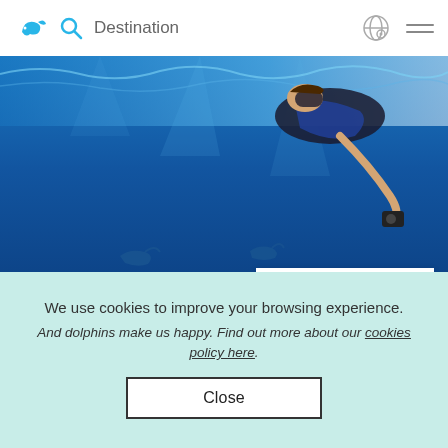Destination
[Figure (photo): Underwater photo of a snorkeler holding a camera, surrounded by blue ocean water and dolphins visible in the distance below]
View Photos
We use cookies to improve your browsing experience.
And dolphins make us happy. Find out more about our cookies policy here.
Close